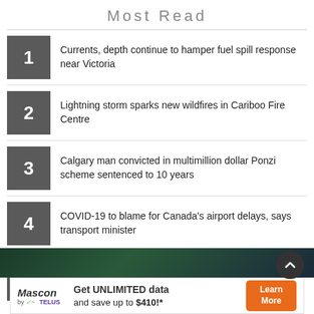Most Read
1  Currents, depth continue to hamper fuel spill response near Victoria
2  Lightning storm sparks new wildfires in Cariboo Fire Centre
3  Calgary man convicted in multimillion dollar Ponzi scheme sentenced to 10 years
4  COVID-19 to blame for Canada's airport delays, says transport minister
5  Ontario nuclear operator travelling on motorcycle across Canada with canine friend
[Figure (other): Dark teal/green background image partial banner]
[Figure (other): Mascon by TELUS advertisement banner: Get UNLIMITED data and save up to $410!* Learn More]